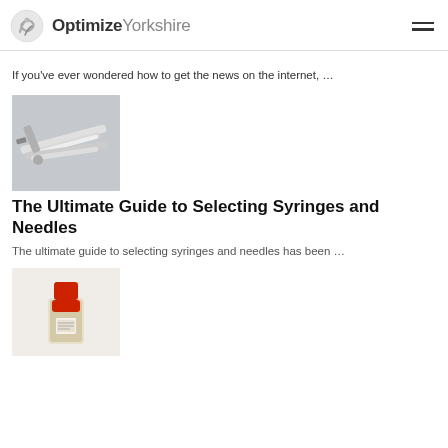OptimizeYorkshire
If you've ever wondered how to get the news on the internet, …
[Figure (photo): Photo of medical syringes and needles on a gray background]
The Ultimate Guide to Selecting Syringes and Needles
The ultimate guide to selecting syringes and needles has been …
[Figure (photo): Photo of a small bottle with red cap containing brown substance, on white background]